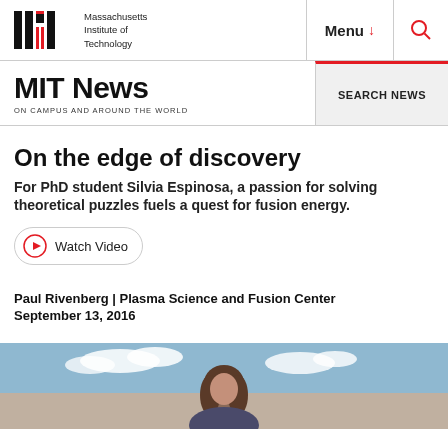Massachusetts Institute of Technology | Menu | Search
MIT News ON CAMPUS AND AROUND THE WORLD
On the edge of discovery
For PhD student Silvia Espinosa, a passion for solving theoretical puzzles fuels a quest for fusion energy.
Watch Video
Paul Rivenberg | Plasma Science and Fusion Center
September 13, 2016
[Figure (photo): Photograph of Silvia Espinosa, a young woman with brown hair, photographed outdoors with a blue sky background]